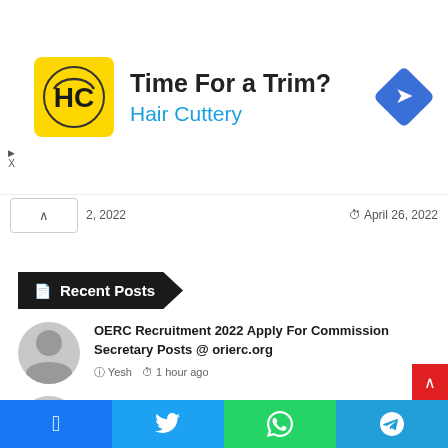[Figure (infographic): Advertisement banner for Hair Cuttery showing logo, tagline 'Time For a Trim?', brand name 'Hair Cuttery', and a blue diamond direction sign icon]
2, 2022    April 26, 2022
Recent Posts
OERC Recruitment 2022 Apply For Commission Secretary Posts @ orierc.org
Yesh  1 hour ago
Airline Jobs 2022 Apply For Cabin Crew, Ground Staff, Airport Manager 10th, 12th Pass
admin  15 hours ago